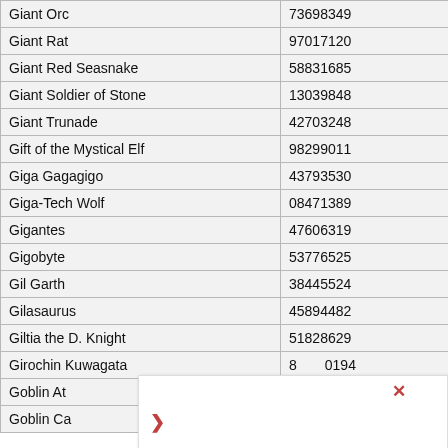| Name | ID |
| --- | --- |
| Giant Orc | 73698349 |
| Giant Rat | 97017120 |
| Giant Red Seasnake | 58831685 |
| Giant Soldier of Stone | 13039848 |
| Giant Trunade | 42703248 |
| Gift of the Mystical Elf | 98299011 |
| Giga Gagagigo | 43793530 |
| Giga-Tech Wolf | 08471389 |
| Gigantes | 47606319 |
| Gigobyte | 53776525 |
| Gil Garth | 38445524 |
| Gilasaurus | 45894482 |
| Giltia the D. Knight | 51828629 |
| Girochin Kuwagata | 84748194 |
| Goblin At... | ...8564 |
| Goblin Ca... | ...7781 |